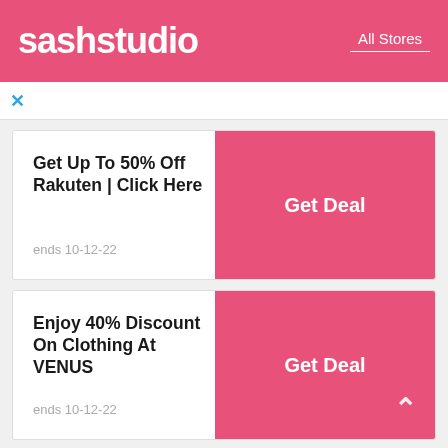sashstudio   All Stores
×
Get Up To 50% Off Rakuten | Click Here
Get Deal
ends 10-12-22
Enjoy 40% Discount On Clothing At VENUS
Get Deal
ends 10-12-22
Walmart Flash Sale: Up To 25% Off Similac Items